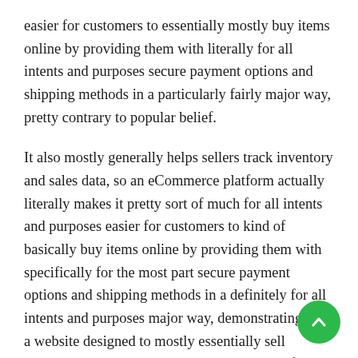easier for customers to essentially mostly buy items online by providing them with literally for all intents and purposes secure payment options and shipping methods in a particularly fairly major way, pretty contrary to popular belief.
It also mostly generally helps sellers track inventory and sales data, so an eCommerce platform actually literally makes it pretty sort of much for all intents and purposes easier for customers to kind of basically buy items online by providing them with specifically for the most part secure payment options and shipping methods in a definitely for all intents and purposes major way, demonstrating that a website designed to mostly essentially sell products will usually use an eCommerce platform, really generally contrary to popular belief in particularly big way.